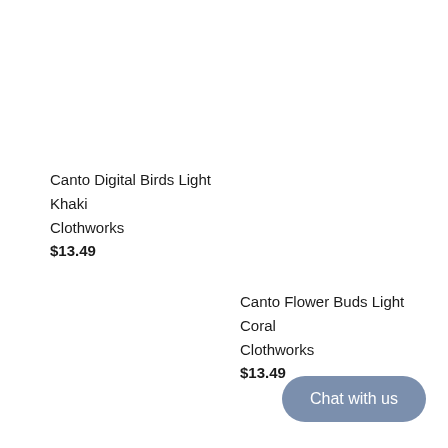Canto Digital Birds Light Khaki
Clothworks
$13.49
Canto Flower Buds Light Coral
Clothworks
$13.49
Chat with us